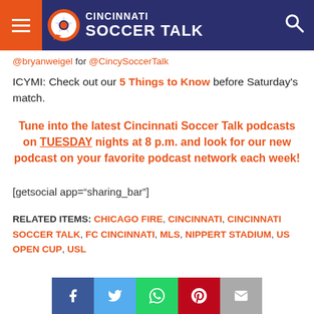Cincinnati Soccer Talk
@bryanweigel for @CincySoccerTalk
ICYMI: Check out our 5 Things to Know before Saturday's match.
Tune into the latest Cincinnati Soccer Talk podcasts on TUESDAY nights at 8 p.m. and look for our new podcast on your favorite podcast network each week!
[getsocial app="sharing_bar"]
RELATED ITEMS: CHICAGO FIRE, CINCINNATI, CINCINNATI SOCCER TALK, FC CINCINNATI, MLS, NIPPERT STADIUM, US OPEN CUP, USL
[Figure (other): Social sharing buttons: Facebook, Twitter, WhatsApp, Pinterest, Email]